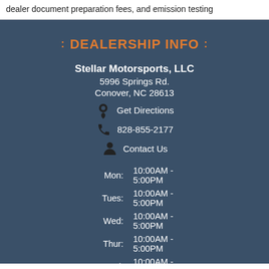dealer document preparation fees, and emission testing
DEALERSHIP INFO
Stellar Motorsports, LLC
5996 Springs Rd.
Conover, NC 28613
Get Directions
828-855-2177
Contact Us
| Day | Hours |
| --- | --- |
| Mon: | 10:00AM - 5:00PM |
| Tues: | 10:00AM - 5:00PM |
| Wed: | 10:00AM - 5:00PM |
| Thur: | 10:00AM - 5:00PM |
| Fri: | 10:00AM - 5:00PM |
| Sat: | 10:00AM - 5:00PM |